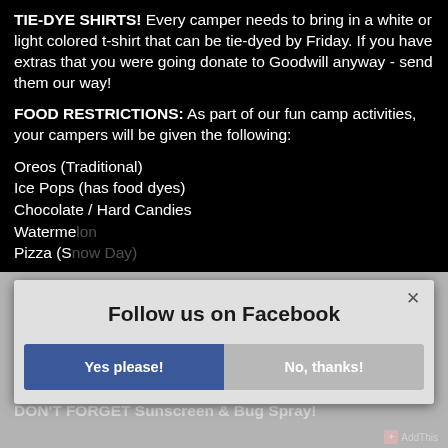TIE-DYE SHIRTS! Every camper needs to bring in a white or light colored t-shirt that can be tie-dyed by Friday. If you have extras that you were going donate to Goodwill anyway - send them our way!
FOOD RESTRICTIONS: As part of our fun camp activities, your campers will be given the following:
Oreos (Traditional)
Ice Pops (has food dyes)
Chocolate / Hard Candies
Watermelon
Pizza (Snow Day)
If there is any reason, you DO NOT want your camper to have any of these please let me know.
[Figure (screenshot): Follow us on Facebook popup dialog with 'Yes please!' and 'No, thanks!' buttons and an X close button]
DON'T FORGET Sunscreen & Bug Spray!